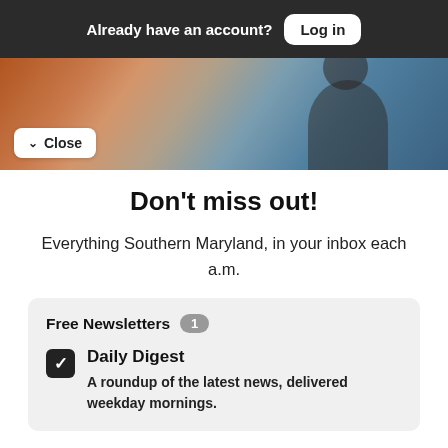Already have an account? Log in
[Figure (photo): Hero banner image showing a person in front of a screen with network/data visualization graphics]
Don't miss out!
Everything Southern Maryland, in your inbox each a.m.
Free Newsletters 1
Daily Digest — A roundup of the latest news, delivered weekday mornings.